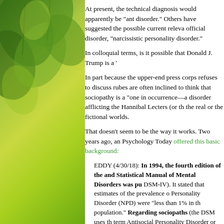[Figure (photo): Green leaves and foliage forming a sidebar on the left side of the page]
At present, the technical diagnosis would apparently be "ant disorder." Others have suggested the possible current releva official disorder, "narcissistic personality disorder."
In colloquial terms, is it possible that Donald J. Trump is a '
In part because the upper-end press corps refuses to discuss rubes are often inclined to think that sociopathy is a "one in occurrence—a disorder afflicting the Hannibal Lecters (or th the real or the fictional worlds.
That doesn't seem to be the way it works. Two years ago, an Psychology Today offered this basic background:
EDDY (4/30/18): In 1994, the fourth edition of the and Statistical Manual of Mental Disorders was pu DSM-IV). It stated that estimates of the prevalence o Personality Disorder (NPD) were "less than 1% in th population." Regarding sociopaths (the DSM uses th term Antisocial Personality Disorder or ASPD), it sai prevalence "in community samples is about 3% in 1% for females"